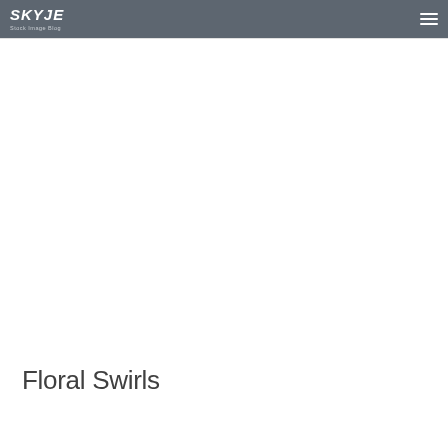SKYJE Stock Image Blog
Floral Swirls